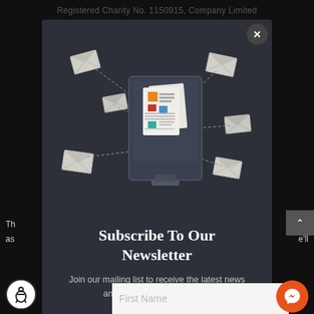Registered Charity No. 1150915, Company Limited
[Figure (screenshot): Newsletter subscription modal popup showing a computer monitor with newsletter/email illustration, floating envelope icons around it, on a dark background. Includes close (X) button in top right.]
Subscribe To Our Newsletter
Join our mailing list to receive the latest news and updates from our team.
First Name